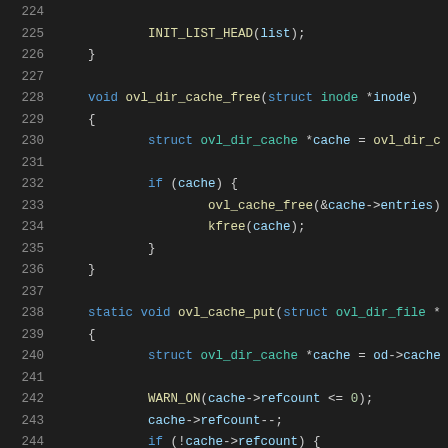[Figure (screenshot): Source code listing showing C kernel code for ovl_dir_cache_free and ovl_cache_put functions, lines 224-245, with syntax highlighting on dark background.]